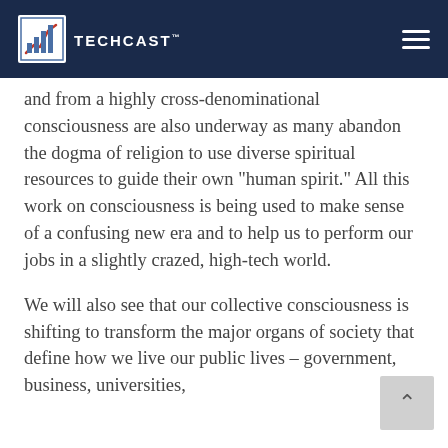TECHCAST
and from a highly cross-denominational consciousness are also underway as many abandon the dogma of religion to use diverse spiritual resources to guide their own “human spirit.” All this work on consciousness is being used to make sense of a confusing new era and to help us to perform our jobs in a slightly crazed, high-tech world.
We will also see that our collective consciousness is shifting to transform the major organs of society that define how we live our public lives – government, business, universities,